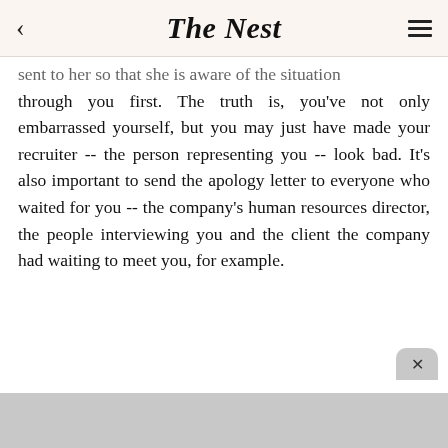The Nest
sent to her so that she is aware of the situation through you first. The truth is, you've not only embarrassed yourself, but you may just have made your recruiter -- the person representing you -- look bad. It's also important to send the apology letter to everyone who waited for you -- the company's human resources director, the people interviewing you and the client the company had waiting to meet you, for example.